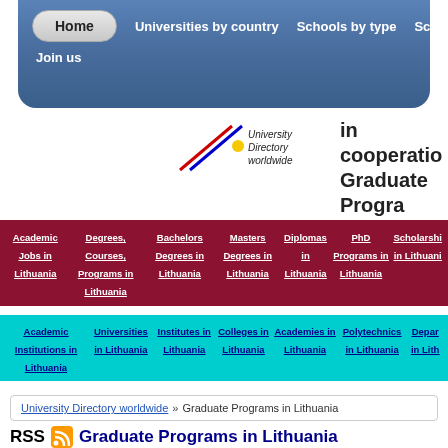Home | Universities by country | Schools by type | Sc | Join us
[Figure (logo): University Directory worldwide logo with diagonal lines and yellow dot]
in cooperation Graduate Programs
Academic Jobs in Lithuania
Degrees, Courses, Programs in Lithuania
Bachelors Degrees in Lithuania
Masters Degrees in Lithuania
Diplomas in Lithuania
PhD Programs in Lithuania
Scholarships in Lithuania
Academic Institutions in Lithuania
Universities in Lithuania
Institutes in Lithuania
Colleges in Lithuania
Academies in Lithuania
Polytechnics in Lithuania
Departments in Lithuania
University Directory worldwide » Graduate Programs in Lithuania
RSS Graduate Programs in Lithuania